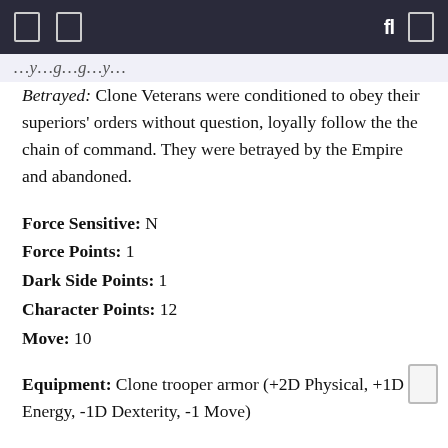...y...g...g...y...
Betrayed: Clone Veterans were conditioned to obey their superiors' orders without question, loyally follow the the chain of command. They were betrayed by the Empire and abandoned.
Force Sensitive: N
Force Points: 1
Dark Side Points: 1
Character Points: 12
Move: 10
Equipment: Clone trooper armor (+2D Physical, +1D Energy, -1D Dexterity, -1 Move)
Background: A veteran of the Clone Wars was a human male clone of Jango Fett, who once served